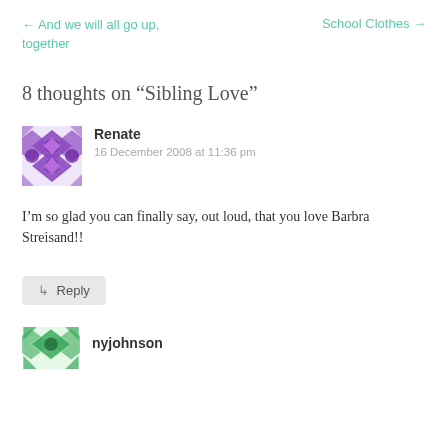← And we will all go up, together    School Clothes →
8 thoughts on “Sibling Love”
[Figure (illustration): Purple geometric pattern avatar for user Renate]
Renate
16 December 2008 at 11:36 pm
I’m so glad you can finally say, out loud, that you love Barbra Streisand!!
↳ Reply
[Figure (illustration): Green geometric pattern avatar for user nyjohnson]
nyjohnson